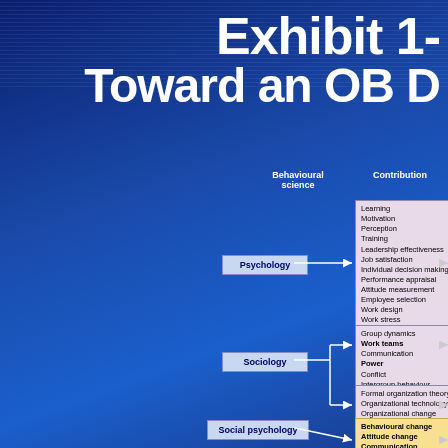Exhibit 1- Toward an OB D
[Figure (flowchart): OB Discipline flowchart showing Behavioural Science disciplines (Psychology, Sociology, Social psychology) with arrows pointing to Contribution boxes listing topics (Learning, Motivation, Perception, etc. for Psychology; Group dynamics, Work teams, etc. for Sociology; Formal organization theory, etc.; Behavioural change, Attitude change, etc. for Social psychology). Columns labeled Behavioural science and Contribution.]